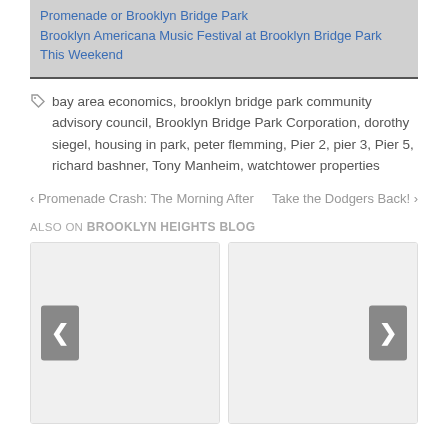Promenade or Brooklyn Bridge Park
Brooklyn Americana Music Festival at Brooklyn Bridge Park This Weekend
bay area economics, brooklyn bridge park community advisory council, Brooklyn Bridge Park Corporation, dorothy siegel, housing in park, peter flemming, Pier 2, pier 3, Pier 5, richard bashner, Tony Manheim, watchtower properties
< Promenade Crash: The Morning After
Take the Dodgers Back! >
ALSO ON BROOKLYN HEIGHTS BLOG
[Figure (screenshot): Two card panels with left and right navigation arrows (< and >) for a carousel widget showing related blog posts]